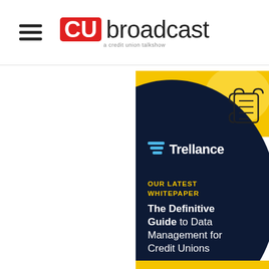CU broadcast - a credit union talkshow
[Figure (illustration): Trellance whitepaper advertisement: dark navy and gold design with scroll icon. Text reads 'OUR LATEST WHITEPAPER' in gold, then 'The Definitive Guide to Data Management for Credit Unions' in white. Trellance logo visible.]